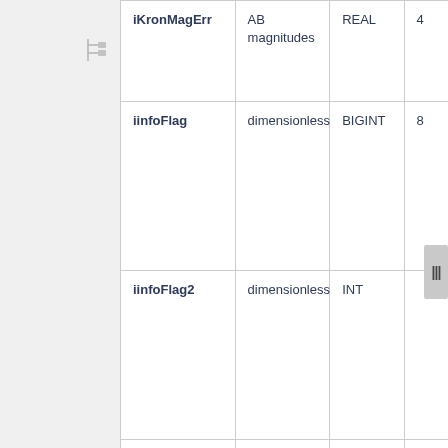| Name | Units | Type |  |
| --- | --- | --- | --- |
| iKronMagErr | AB magnitudes | REAL | 4 |
| iinfoFlag | dimensionless | BIGINT | 8 |
| iinfoFlag2 | dimensionless | INT |  |
| iinfoFlag3 | dimensionless | INT | 4 |